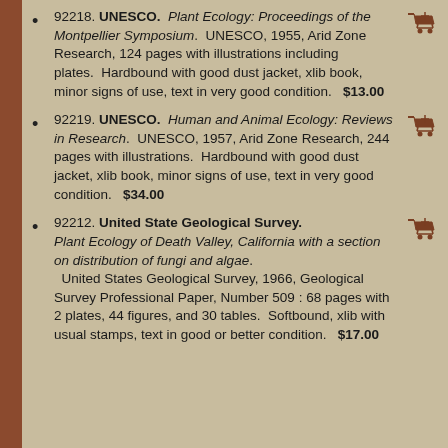92218. UNESCO. Plant Ecology: Proceedings of the Montpellier Symposium. UNESCO, 1955, Arid Zone Research, 124 pages with illustrations including plates. Hardbound with good dust jacket, xlib book, minor signs of use, text in very good condition. $13.00
92219. UNESCO. Human and Animal Ecology: Reviews in Research. UNESCO, 1957, Arid Zone Research, 244 pages with illustrations. Hardbound with good dust jacket, xlib book, minor signs of use, text in very good condition. $34.00
92212. United State Geological Survey. Plant Ecology of Death Valley, California with a section on distribution of fungi and algae. United States Geological Survey, 1966, Geological Survey Professional Paper, Number 509 : 68 pages with 2 plates, 44 figures, and 30 tables. Softbound, xlib with usual stamps, text in good or better condition. $17.00